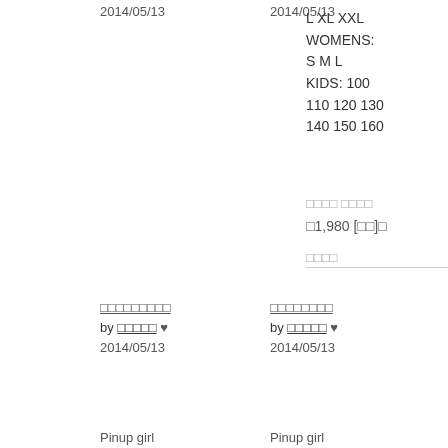2014/05/13
2014/05/13
L XL XXL
WOMENS: S M L
KIDS: 100 110 120 130 140 150 160
□□□□ □□□□
□1,980 [□□]□
□□□□
□□□□□□□□□
by □□□□□ ♥
2014/05/13
□□□□□□□□
by □□□□□ ♥
2014/05/13
Pinup girl
Pinup girl